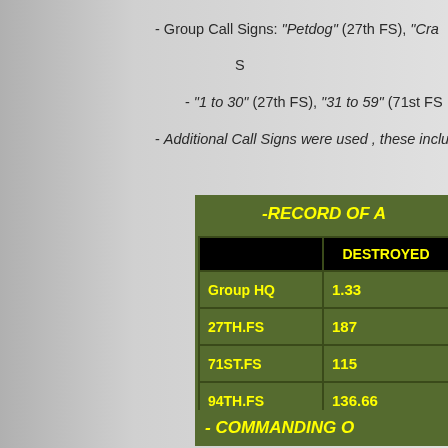- Group Call Signs: "Petdog" (27th FS), "Crag... S
- "1 to 30" (27th FS), "31 to 59" (71st FS...
- Additional Call Signs were used , these inclu...
|  | DESTROYED |
| --- | --- |
| Group HQ | 1.33 |
| 27TH.FS | 187 |
| 71ST.FS | 115 |
| 94TH.FS | 136.66 |
- COMMANDING OF...